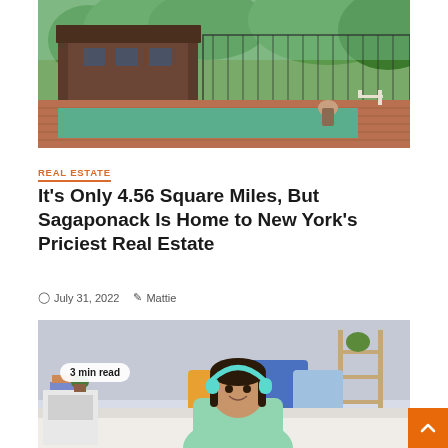[Figure (photo): Exterior photo of a large house with a pool and brick patio, woman sitting by pool, fenced yard with trees in background]
REAL ESTATE
It’s Only 4.56 Square Miles, But Sagaponack Is Home to New York’s Priciest Real Estate
July 31, 2022  Mattie
[Figure (photo): Young woman wearing light green hoodie and teal headphones sitting on bed, smiling, colorful pillows behind her, 3 min read badge overlay]